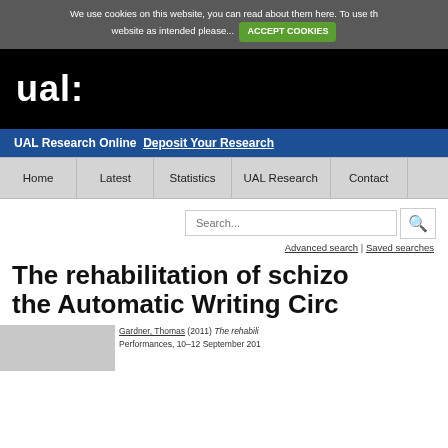We use cookies on this website, you can read about them here. To use this website as intended please... ACCEPT COOKIES
[Figure (logo): UAL University of the Arts London logo — white text 'ual:' on black background]
UAL Research Online  Deposit Your Research
Home | Latest | Statistics | UAL Research | Contact
Search... Advanced search | Saved searches
The rehabilitation of schizo... the Automatic Writing Circ...
Gardner, Thomas (2011) The rehabilitation of... Performances, 10–12 September 201...